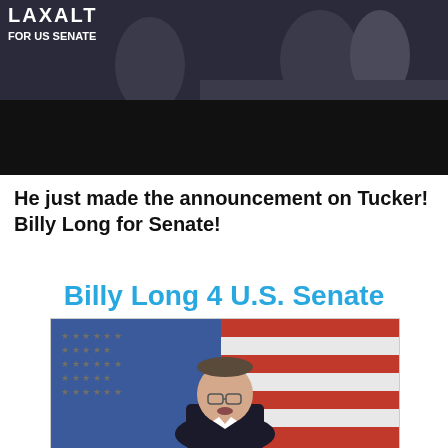[Figure (screenshot): Screenshot of a Laxalt for US Senate campaign video thumbnail showing 'LAXALT FOR US SENATE' text overlay on a dark video frame with people visible]
He just made the announcement on Tucker! Billy Long for Senate!
Billy Long 4 U.S. Senate
[Figure (photo): Photo of Billy Long speaking at a podium in front of a large American flag with red, white and blue stripes and stars visible]